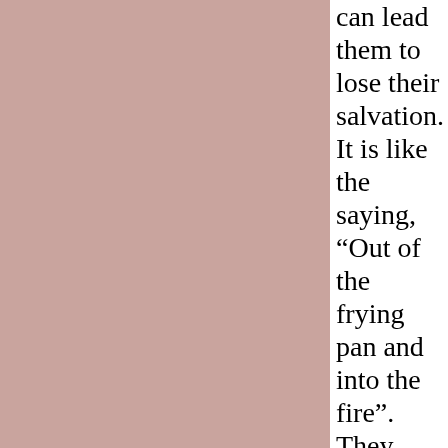can lead them to lose their salvation. It is like the saying, “Out of the frying pan and into the fire”. They come out of one false teaching only to be deceived